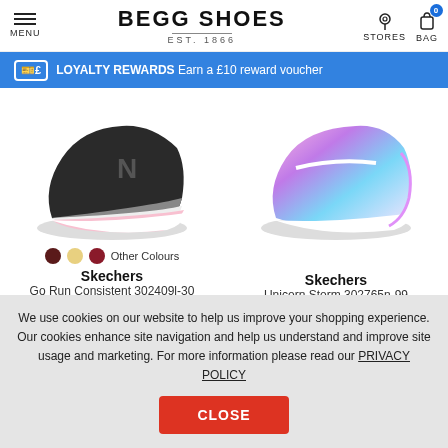MENU | BEGG SHOES EST. 1866 | STORES BAG 0
LOYALTY REWARDS Earn a £10 reward voucher
[Figure (photo): Two Skechers children's shoes: left is a black/pink running shoe, right is a pink/purple holographic unicorn-themed trainer.]
Other Colours
Skechers
Go Run Consistent 302409l-30
US$52.00
Skechers
Unicorn Storm 302765n-99
US$45.00
We use cookies on our website to help us improve your shopping experience. Our cookies enhance site navigation and help us understand and improve site usage and marketing. For more information please read our PRIVACY POLICY
CLOSE